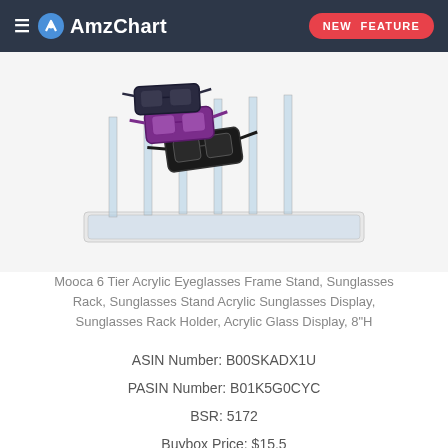AmzChart — NEW FEATURE
[Figure (photo): Acrylic eyeglasses frame stand with multiple tiers holding sunglasses, displayed on a clear acrylic base]
Mooca 6 Tier Acrylic Eyeglasses Frame Stand, Sunglasses Rack, Sunglasses Stand Acrylic Sunglasses Display, Sunglasses Rack Holder, Acrylic Glass Display, 8"H
ASIN Number: B00SKADX1U
PASIN Number: B01K5G0CYC
BSR: 5172
Buybox Price: $15.5
Buybox Seller: MOOCA